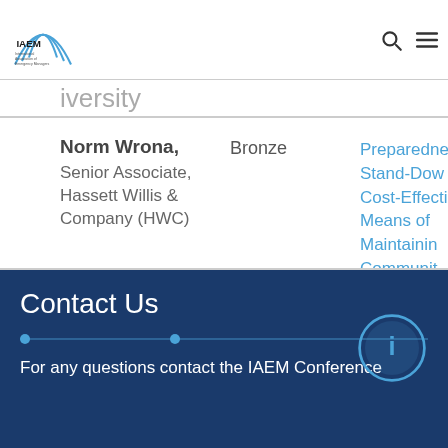IAEM - International Association of Emergency Managers
...iversity
Norm Wrona, Senior Associate, Hassett Willis & Company (HWC)
Bronze
Preparedness Stand-Down Cost-Effective Means of Maintaining Community Preparedness Levels
Contact Us
For any questions contact the IAEM Conference